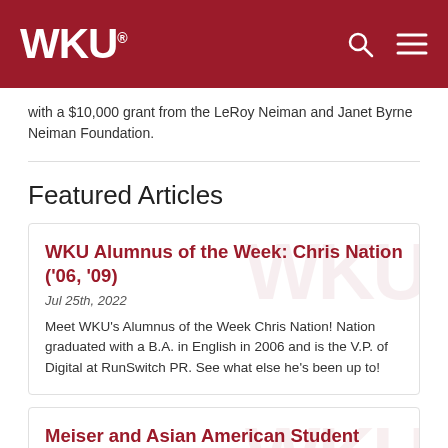WKU
with a $10,000 grant from the LeRoy Neiman and Janet Byrne Neiman Foundation.
Featured Articles
WKU Alumnus of the Week: Chris Nation ('06, '09)
Jul 25th, 2022
Meet WKU's Alumnus of the Week Chris Nation! Nation graduated with a B.A. in English in 2006 and is the V.P. of Digital at RunSwitch PR. See what else he's been up to!
Meiser and Asian American Student Association connect students
May 25th, 2022